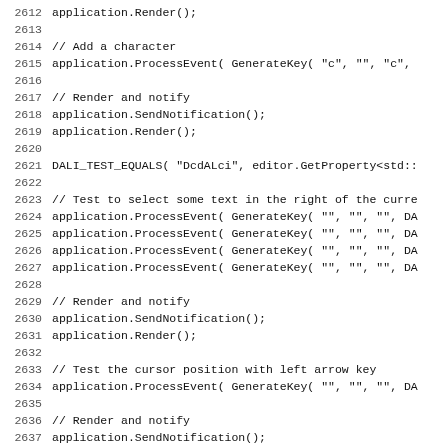Code listing lines 2612-2643 showing C++ test code with application.Render(), ProcessEvent(), SendNotification(), and DALI_TEST_EQUALS calls.